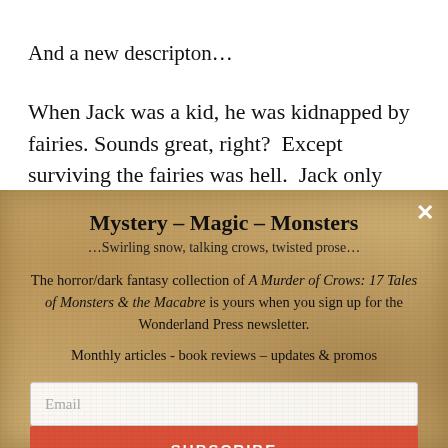And a new descripton…
When Jack was a kid, he was kidnapped by fairies. Sounds great, right?  Except surviving the fairies was hell.  Jack only escaped with the help of his best friend,
Mystery – Magic – Monsters
…Swirling snow, talking crows, twisted prose…
The horror/dark fantasy collection of A Murder of Crows: 17 Tales of Monsters & the Macabre is yours when you sign up for the Wonderland Press newsletter.
Monthly articles - book reviews – updates & promos